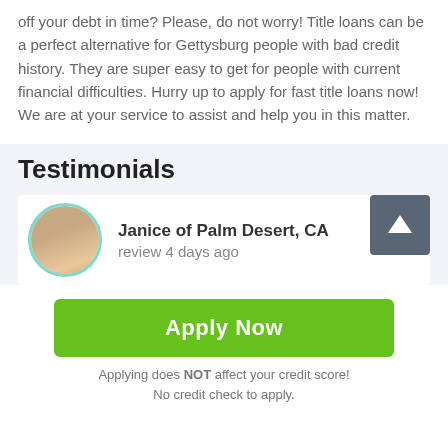off your debt in time? Please, do not worry! Title loans can be a perfect alternative for Gettysburg people with bad credit history. They are super easy to get for people with current financial difficulties. Hurry up to apply for fast title loans now! We are at your service to assist and help you in this matter.
Testimonials
[Figure (photo): Avatar photo of a woman with teal/mint circle border, representing Janice of Palm Desert, CA]
Janice of Palm Desert, CA
review 4 days ago
[Figure (other): Dark grey square button with white upward arrow icon (scroll to top button)]
Apply Now
Applying does NOT affect your credit score!
No credit check to apply.